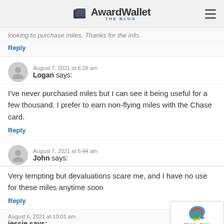AwardWallet THE BLOG
looking to purchase miles. Thanks for the info.
Reply
August 7, 2021 at 6:28 am
Logan says:
I've never purchased miles but I can see it being useful for a few thousand. I prefer to earn non-flying miles with the Chase card.
Reply
August 7, 2021 at 5:44 am
John says:
Very tempting but devaluations scare me, and I have no use for these miles anytime soon
Reply
August 6, 2021 at 10:01 am
jessie says: